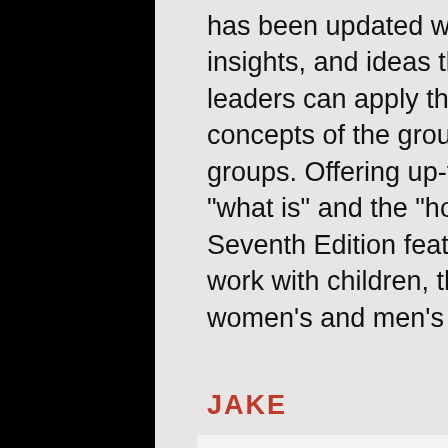has been updated with new examples, guidelines, insights, and ideas that demonstrate how group leaders can apply the basic issues and key concepts of the group process to a variety of groups. Offering up-to-date coverage of both the "what is" and the "how to" of group counseling, the Seventh Edition features a greater focus on group work with children, the elderly, issues in both women's and men's groups and in school settings.
JAKE
The professor of this course had us read this textbook in conjunction with another while also participating in group counseling.
I found that our group very much mirrored the stages presented in the